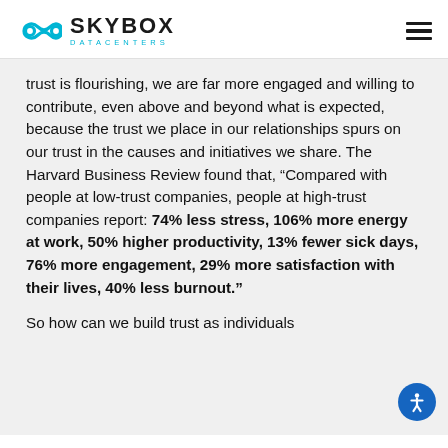SKYBOX DATACENTERS
trust is flourishing, we are far more engaged and willing to contribute, even above and beyond what is expected, because the trust we place in our relationships spurs on our trust in the causes and initiatives we share. The Harvard Business Review found that, “Compared with people at low-trust companies, people at high-trust companies report: 74% less stress, 106% more energy at work, 50% higher productivity, 13% fewer sick days, 76% more engagement, 29% more satisfaction with their lives, 40% less burnout.”
So how can we build trust as individuals